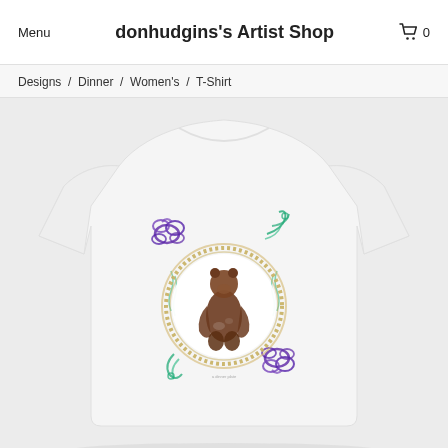Menu   donhudgins's Artist Shop   0
Designs  /  Dinner  /  Women's  /  T-Shirt
[Figure (photo): White women's T-shirt with a circular medallion design featuring a bear standing upright, surrounded by purple and green decorative floral/scroll elements, displayed on a white background.]